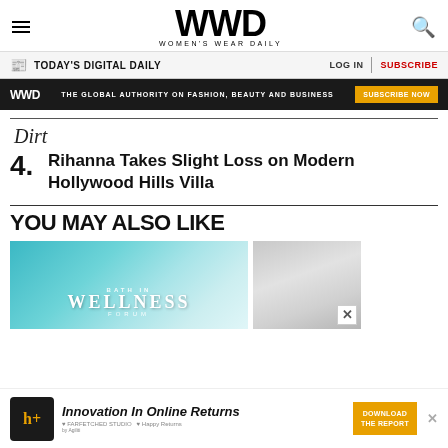WWD — Women's Wear Daily
TODAY'S DIGITAL DAILY | LOG IN | SUBSCRIBE
WWD — THE GLOBAL AUTHORITY ON FASHION, BEAUTY AND BUSINESS — SUBSCRIBE NOW
Dirt
4. Rihanna Takes Slight Loss on Modern Hollywood Hills Villa
YOU MAY ALSO LIKE
[Figure (photo): WWD Wellness Forum promotional image with teal/turquoise background]
[Figure (photo): Gray textured thumbnail image]
Innovation In Online Returns — DOWNLOAD THE REPORT